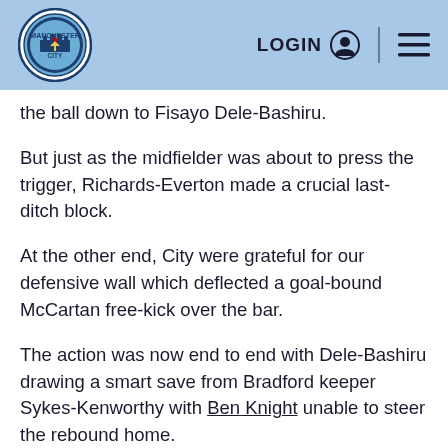Manchester City – LOGIN [navigation header]
...the ball down to Fisayo Dele-Bashiru.
But just as the midfielder was about to press the trigger, Richards-Everton made a crucial last-ditch block.
At the other end, City were grateful for our defensive wall which deflected a goal-bound McCartan free-kick over the bar.
The action was now end to end with Dele-Bashiru drawing a smart save from Bradford keeper Sykes-Kenworthy with Ben Knight unable to steer the rebound home.
Just after the hour our patience was finally rewarded with Doyle capping a fine individual